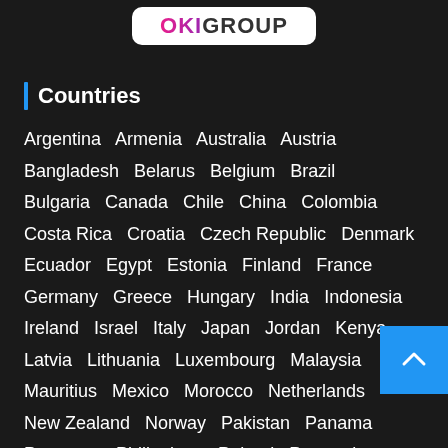[Figure (logo): OKI Group logo - pink and purple OK with dark Group text on white rounded rectangle background]
Countries
Argentina  Armenia  Australia  Austria  Bangladesh  Belarus  Belgium  Brazil  Bulgaria  Canada  Chile  China  Colombia  Costa Rica  Croatia  Czech Republic  Denmark  Ecuador  Egypt  Estonia  Finland  France  Germany  Greece  Hungary  India  Indonesia  Ireland  Israel  Italy  Japan  Jordan  Kenya  Latvia  Lithuania  Luxembourg  Malaysia  Mauritius  Mexico  Morocco  Netherlands  New Zealand  Norway  Pakistan  Panama  Paraguay  Philippines  Poland  Portugal